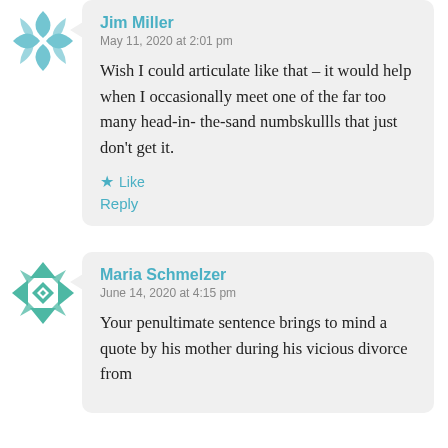Jim Miller
May 11, 2020 at 2:01 pm
Wish I could articulate like that – it would help when I occasionally meet one of the far too many head-in- the-sand numbskullls that just don't get it.
Like
Reply
Maria Schmelzer
June 14, 2020 at 4:15 pm
Your penultimate sentence brings to mind a quote by his mother during his vicious divorce from